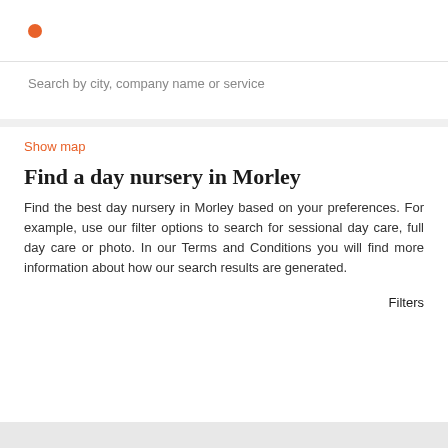[Figure (logo): Small orange circle dot logo in top bar]
Search by city, company name or service
Show map
Find a day nursery in Morley
Find the best day nursery in Morley based on your preferences. For example, use our filter options to search for sessional day care, full day care or photo. In our Terms and Conditions you will find more information about how our search results are generated.
Filters